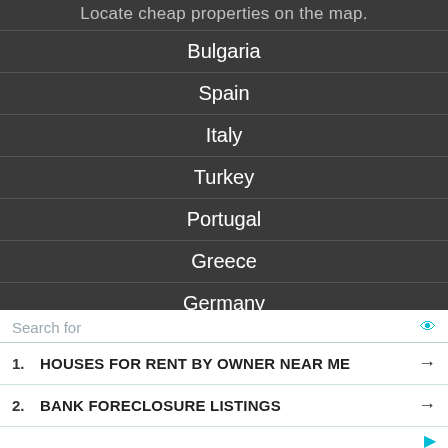Locate cheap properties on the map.
Bulgaria
Spain
Italy
Turkey
Portugal
Greece
Germany
Search for
1. HOUSES FOR RENT BY OWNER NEAR ME
2. BANK FORECLOSURE LISTINGS